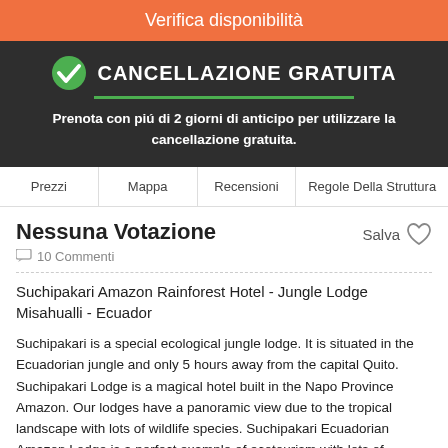Verifica disponibilità
CANCELLAZIONE GRATUITA
Prenota con più di 2 giorni di anticipo per utilizzare la cancellazione gratuita.
Prezzi | Mappa | Recensioni | Regole Della Struttura
Nessuna Votazione
10 Commenti
Salva
Suchipakari Amazon Rainforest Hotel - Jungle Lodge Misahualli - Ecuador
Suchipakari is a special ecological jungle lodge. It is situated in the Ecuadorian jungle and only 5 hours away from the capital Quito. Suchipakari Lodge is a magical hotel built in the Napo Province Amazon. Our lodges have a panoramic view due to the tropical landscape with lots of wildlife species. Suchipakari Ecuadorian Amazon Lodge is a perfect example of ecotourism with lots of sustainable activities like...